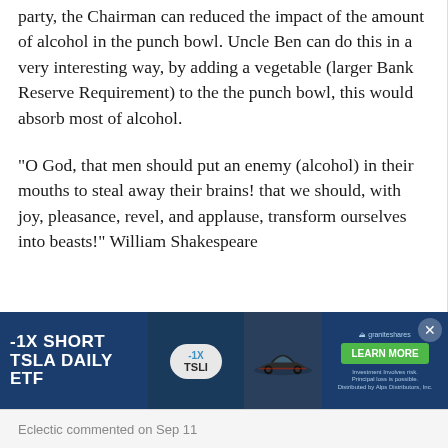party, the Chairman can reduced the impact of the amount of alcohol in the punch bowl. Uncle Ben can do this in a very interesting way, by adding a vegetable (larger Bank Reserve Requirement) to the the punch bowl, this would absorb most of alcohol.
“O God, that men should put an enemy (alcohol) in their mouths to steal away their brains! that we should, with joy, pleasance, revel, and applause, transform ourselves into beasts!” William Shakespeare
[Figure (infographic): Advertisement banner for -1X Short TSLA Daily ETF by GraniteShares. Dark blue background with bold white text on left reading '-1X SHORT TSLA DAILY ETF', a circular badge in the center showing '-1X' above 'TSLI', an image of a dark Tesla car, and on the right a green 'LEARN MORE' button with GraniteShares branding and small disclaimer text.]
Eclectic commented on Sep 11